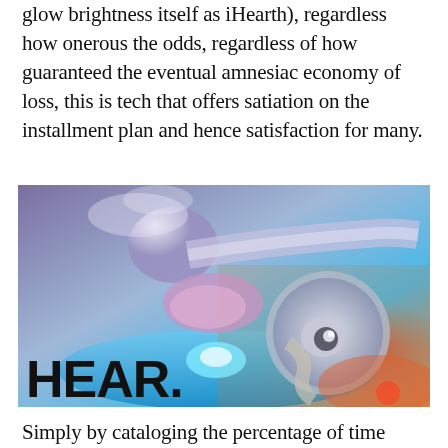glow brightness itself as iHearth), regardless how onerous the odds, regardless of how guaranteed the eventual amnesiac economy of loss, this is tech that offers satiation on the installment plan and hence satisfaction for many.
[Figure (photo): A composite image showing fantasy/gaming artwork of ethereal figures and glowing effects, with bold text overlay reading 'HEAR.' in large black letters at the bottom left.]
Simply by cataloging the percentage of time spent recharging our handhelds we can